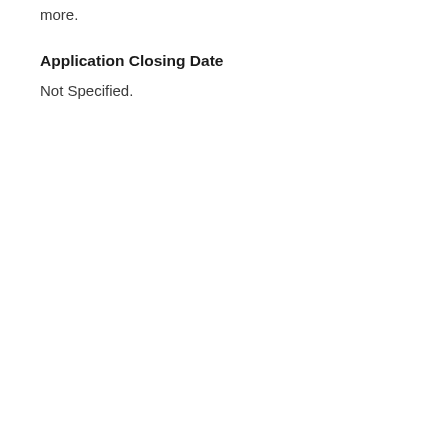more.
Application Closing Date
Not Specified.